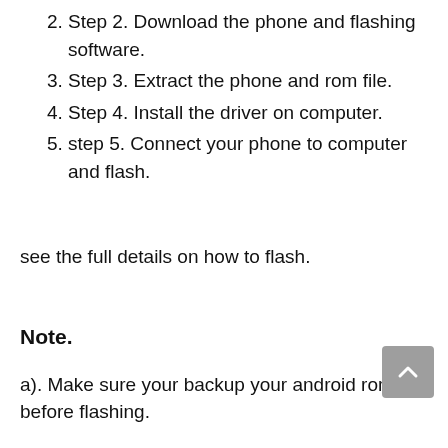Step 2. Download the phone and flashing software.
Step 3. Extract the phone and rom file.
Step 4. Install the driver on computer.
step 5. Connect your phone to computer and flash.
see the full details on how to flash.
Note.
a). Make sure your backup your android rom before flashing.
b). Make sure you use the phone exact rom or firmware and exact chip number. Try and read